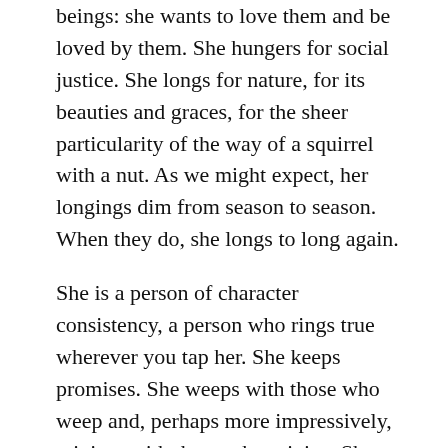beings: she wants to love them and be loved by them. She hungers for social justice. She longs for nature, for its beauties and graces, for the sheer particularity of the way of a squirrel with a nut. As we might expect, her longings dim from season to season. When they do, she longs to long again.
She is a person of character consistency, a person who rings true wherever you tap her. She keeps promises. She weeps with those who weep and, perhaps more impressively, rejoices with those who rejoice. She does all these things in ways that express her own personality and culture but also a general "mind of Christ" that is cross-culturally unmistakable.
Her motives include faith—a quiet confidence in God and the mercies of God that radiate from the